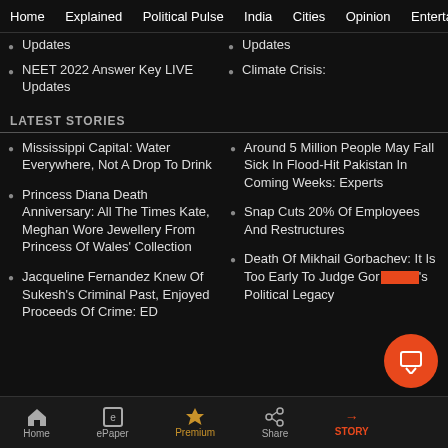Home   Explained   Political Pulse   India   Cities   Opinion   Entertainment
Updates
Updates
NEET 2022 Answer Key LIVE Updates
Climate Crisis:
LATEST STORIES
Mississippi Capital: Water Everywhere, Not A Drop To Drink
Around 5 Million People May Fall Sick In Flood-Hit Pakistan In Coming Weeks: Experts
Princess Diana Death Anniversary: All The Times Kate, Meghan Wore Jewellery From Princess Of Wales' Collection
Snap Cuts 20% Of Employees And Restructures
Jacqueline Fernandez Knew Of Sukesh's Criminal Past, Enjoyed Proceeds Of Crime: ED
Death Of Mikhail Gorbachev: It Is Too Early To Judge Gorbachev's Political Legacy
Home   ePaper   Premium   Share   STORY